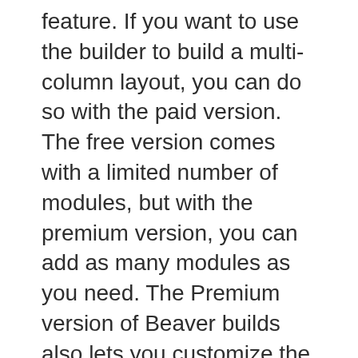feature. If you want to use the builder to build a multi-column layout, you can do so with the paid version. The free version comes with a limited number of modules, but with the premium version, you can add as many modules as you need. The Premium version of Beaver builds also lets you customize the module settings, making it easier to personalize your site with the same design.
You can customize the layout of your site with a premium or free version. The premium version has more features. For example, you can create pages that have unlimited modules. Beaver Builder's page templates allow you to add unlimited content and images. Its multi-column feature is a great